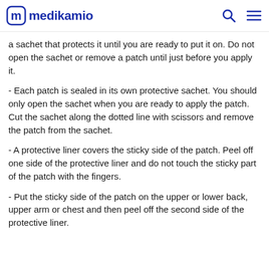medikamio
a sachet that protects it until you are ready to put it on. Do not open the sachet or remove a patch until just before you apply it.
- Each patch is sealed in its own protective sachet. You should only open the sachet when you are ready to apply the patch. Cut the sachet along the dotted line with scissors and remove the patch from the sachet.
- A protective liner covers the sticky side of the patch. Peel off one side of the protective liner and do not touch the sticky part of the patch with the fingers.
- Put the sticky side of the patch on the upper or lower back, upper arm or chest and then peel off the second side of the protective liner.